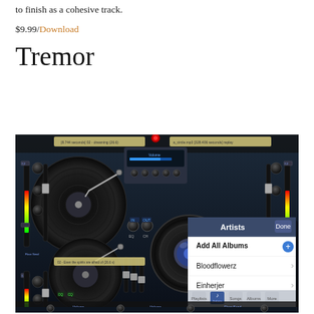to finish as a cohesive track.
$9.99/Download
Tremor
[Figure (screenshot): Screenshot of a DJ mixing application showing turntables, mixer controls, and an iOS music library popup showing Artists view with 'Add All Albums', 'Bloodflowerz', and 'Einherjer' entries.]